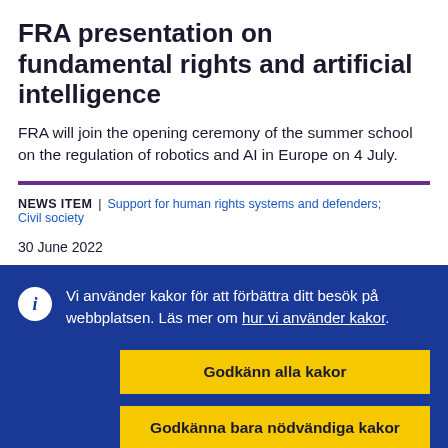FRA presentation on fundamental rights and artificial intelligence
FRA will join the opening ceremony of the summer school on the regulation of robotics and AI in Europe on 4 July.
NEWS ITEM | Support for human rights systems and defenders;  Civil society
30 June 2022
Vi använder kakor för att förbättra ditt besök på webbplatsen. Läs mer om hur vi använder kakor.
Godkänn alla kakor
Godkänna bara nödvändiga kakor